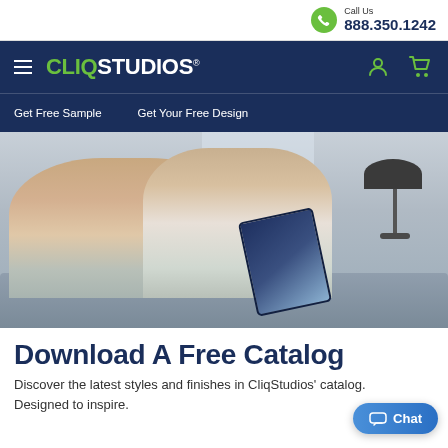Call Us 888.350.1242
CLIQSTUDIOS
Get Free Sample   Get Your Free Design
[Figure (photo): Couple sitting on a sofa looking at a tablet/catalog together, with a lamp in the background]
Download A Free Catalog
Discover the latest styles and finishes in CliqStudios' ca... Designed to inspire.